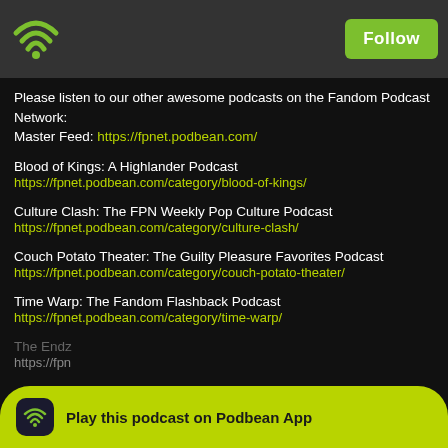Follow
Please listen to our other awesome podcasts on the Fandom Podcast Network:
Master Feed: https://fpnet.podbean.com/
Blood of Kings: A Highlander Podcast
https://fpnet.podbean.com/category/blood-of-kings/
Culture Clash: The FPN Weekly Pop Culture Podcast
https://fpnet.podbean.com/category/culture-clash/
Couch Potato Theater: The Guilty Pleasure Favorites Podcast
https://fpnet.podbean.com/category/couch-potato-theater/
Time Warp: The Fandom Flashback Podcast
https://fpnet.podbean.com/category/time-warp/
The Endz...
https://fpn...
Play this podcast on Podbean App